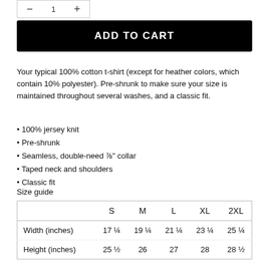[Figure (other): Icons row with minus, number field, and plus controls for quantity selection]
ADD TO CART
Your typical 100% cotton t-shirt (except for heather colors, which contain 10% polyester). Pre-shrunk to make sure your size is maintained throughout several washes, and a classic fit.
100% jersey knit
Pre-shrunk
Seamless, double-need ⅞" collar
Taped neck and shoulders
Classic fit
Size guide
|  | S | M | L | XL | 2XL |
| --- | --- | --- | --- | --- | --- |
| Width (inches) | 17 ¼ | 19 ¼ | 21 ¼ | 23 ¼ | 25 ¼ |
| Height (inches) | 25 ½ | 26 | 27 | 28 | 28 ½ |